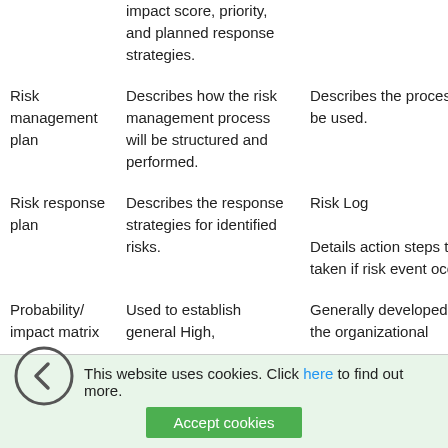|  | impact score, priority, and planned response strategies. |  |
| Risk management plan | Describes how the risk management process will be structured and performed. | Describes the process to be used. |
| Risk response plan | Describes the response strategies for identified risks. | Risk Log

Details action steps to be taken if risk event occurs. |
| Probability/ impact matrix | Used to establish general High, | Generally developed at the organizational |